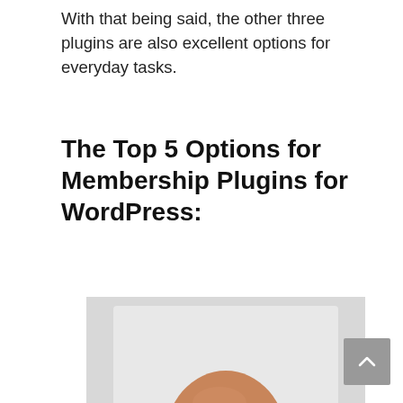With that being said, the other three plugins are also excellent options for everyday tasks.
The Top 5 Options for Membership Plugins for WordPress:
[Figure (photo): A bald young man with a beard wearing a black leather jacket over a white shirt, smiling, photographed against a light gray background.]